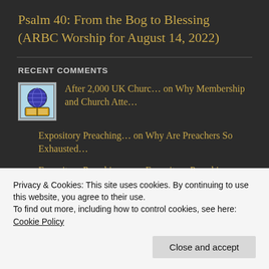Psalm 40: From the Bog to Blessing (ARBC Worship for August 14, 2022)
RECENT COMMENTS
After 2,000 UK Churc… on Why Membership and Church Atte…
Expository Preaching… on Why Are Preachers So Exhausted…
Expository Preaching… on Expository Preaching Exposes M…
Privacy & Cookies: This site uses cookies. By continuing to use this website, you agree to their use.
To find out more, including how to control cookies, see here: Cookie Policy